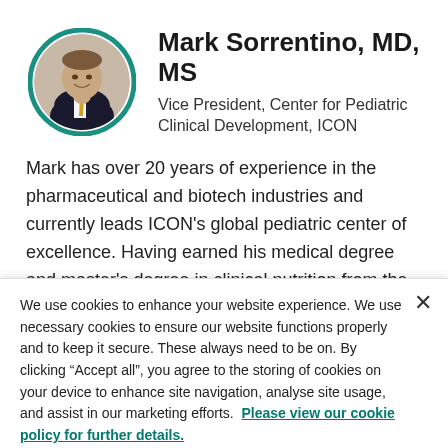[Figure (photo): Circular portrait photo of Mark Sorrentino, a man in a dark suit and yellow tie, smiling, with a teal circular border.]
Mark Sorrentino, MD, MS
Vice President, Center for Pediatric Clinical Development, ICON
Mark has over 20 years of experience in the pharmaceutical and biotech industries and currently leads ICON’s global pediatric center of excellence. Having earned his medical degree and master’s degree in clinical nutrition from the Chicago Medical School, Dr. Sorrentino has contributed to
We use cookies to enhance your website experience. We use necessary cookies to ensure our website functions properly and to keep it secure. These always need to be on. By clicking “Accept all”, you agree to the storing of cookies on your device to enhance site navigation, analyse site usage, and assist in our marketing efforts. Please view our cookie policy for further details.
Cookies Settings
Accept All Cookies